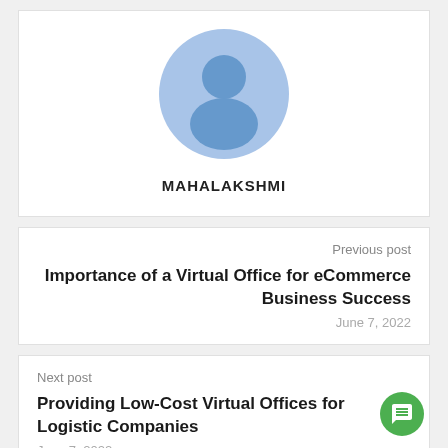[Figure (illustration): Default user avatar: a light blue circle with a darker blue person silhouette icon (head and shoulders) centered inside.]
MAHALAKSHMI
Previous post
Importance of a Virtual Office for eCommerce Business Success
June 7, 2022
Next post
Providing Low-Cost Virtual Offices for Logistic Companies
June 7, 2022